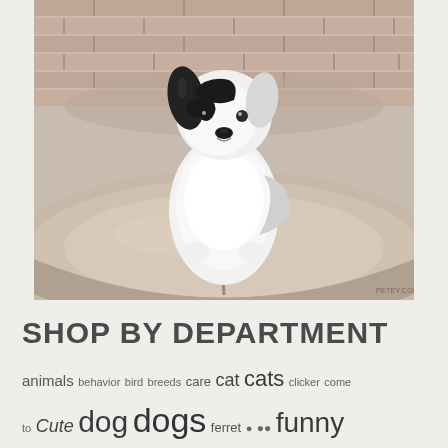[Figure (photo): A black and white fluffy dog (possibly a Papillon or Border Collie mix) sitting on a curved stone or concrete seat/pedestal, with a brick or stone wall background. The dog is facing the camera. A small watermark is visible in the bottom right corner.]
SHOP BY DEPARTMENT
animals behavior bird breeds care cat cats clicker come to Cute dog dogs ferret funny